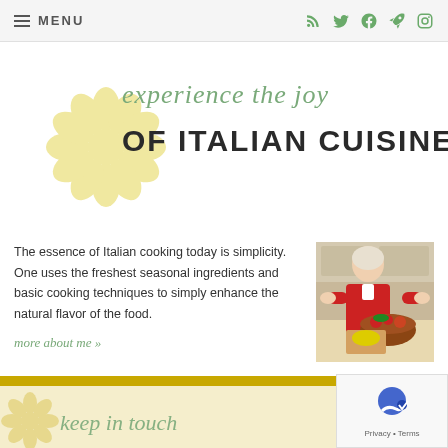≡ MENU
experience the joy OF ITALIAN CUISINE.
The essence of Italian cooking today is simplicity. One uses the freshest seasonal ingredients and basic cooking techniques to simply enhance the natural flavor of the food.
[Figure (photo): Woman in red shirt chopping vegetables in a kitchen]
more about me »
keep in touch